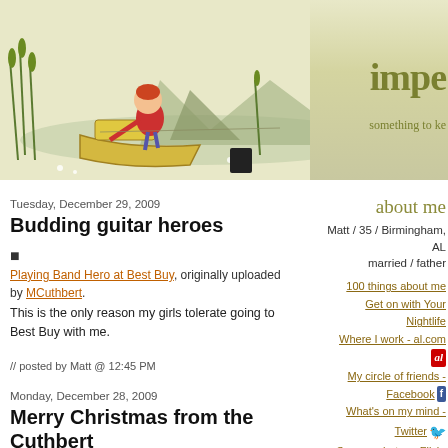[Figure (illustration): Blog header banner with illustrated child rowing a boat through marsh/reeds, with mountains in background. Partial site title 'impe' visible on right side with tagline 'something to ke'.]
about me
Matt / 35 / Birmingham, AL
married / father
100 things about me
Get on with Your Nightlife
Where I work - al.com
My circle of friends -
Facebook
What's on my mind -
Twitter
See my photos - Flickr
Watch my Videos -
Tuesday, December 29, 2009
Budding guitar heroes
Playing Band Hero at Best Buy, originally uploaded by MCuthbert.
This is the only reason my girls tolerate going to Best Buy with me.
// posted by Matt @ 12:45 PM
Monday, December 28, 2009
Merry Christmas from the Cuthbert